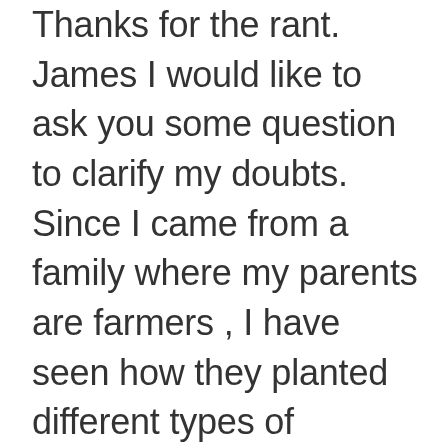Thanks for the rant. James I would like to ask you some question to clarify my doubts. Since I came from a family where my parents are farmers , I have seen how they planted different types of vegetables and our parents used cow dung as a fertilizer which is very good 😊. But the saddest thing is that in order to kill the insects they used lots and lots of pesticides and also now adays I see almost all the farmers in our